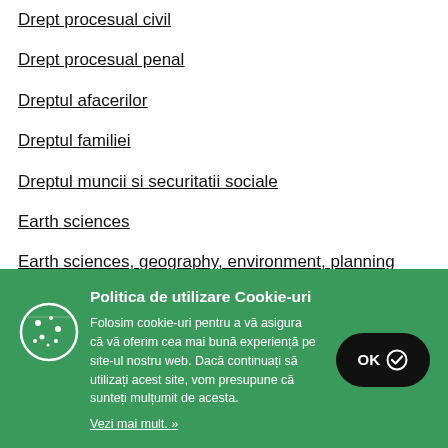Drept procesual civil
Drept procesual penal
Dreptul afacerilor
Dreptul familiei
Dreptul muncii si securitatii sociale
Earth sciences
Earth sciences, geography, environment, planning
Earth sciences, geography, ...
[Figure (infographic): Cookie consent popup overlay with green background, cookie icon, title 'Politica de utilizare Cookie-uri', body text about cookie usage, 'Vezi mai mult. »' link, and a black OK button with checkmark.]